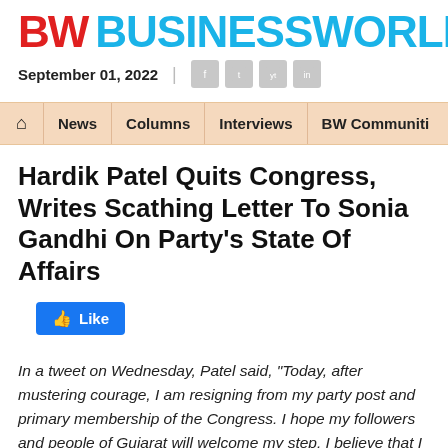BW BUSINESSWORLD
September 01, 2022
News | Columns | Interviews | BW Communities
Hardik Patel Quits Congress, Writes Scathing Letter To Sonia Gandhi On Party's State Of Affairs
Like
In a tweet on Wednesday, Patel said, "Today, after mustering courage, I am resigning from my party post and primary membership of the Congress. I hope my followers and people of Gujarat will welcome my step. I believe that I will be able to serve the state better after this step"